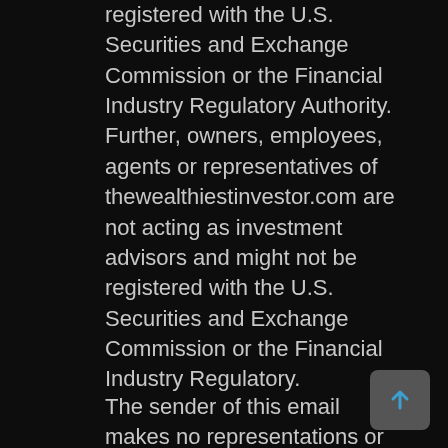registered with the U.S. Securities and Exchange Commission or the Financial Industry Regulatory Authority. Further, owners, employees, agents or representatives of thewealthiestinvestor.com are not acting as investment advisors and might not be registered with the U.S. Securities and Exchange Commission or the Financial Industry Regulatory.
The sender of this email makes no representations or warranties concerning the products, practices or procedures of any company or entity mentioned or recommended in this email, and